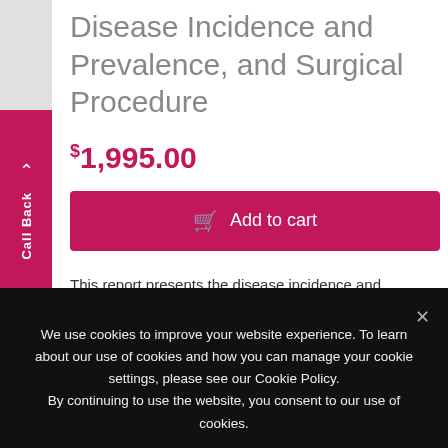Disease Incidence and Prevalence, and Surgical Procedure
$1,995.00
Add to cart
This report presents the disease incidence and prevalence and surgical procedure volumes for selected neurological diseases/disorders and procedures in Germany; incidence and prevalence figures are compared with those of the Benelux
We use cookies to improve your website experience. To learn about our use of cookies and how you can manage your cookie settings, please see our Cookie Policy.
By continuing to use the website, you consent to our use of cookies.
Ok
Read more